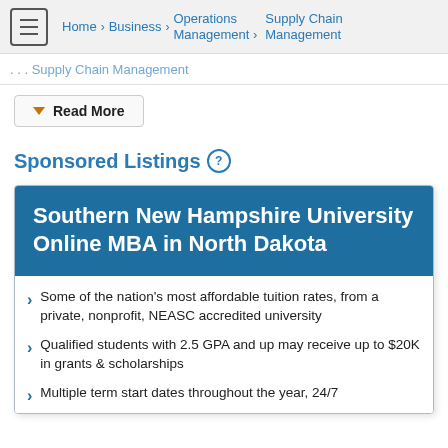Home > Business > Operations Management > Supply Chain Management
Read More
Sponsored Listings
Southern New Hampshire University Online MBA in North Dakota
Some of the nation's most affordable tuition rates, from a private, nonprofit, NEASC accredited university
Qualified students with 2.5 GPA and up may receive up to $20K in grants & scholarships
Multiple term start dates throughout the year, 24/7